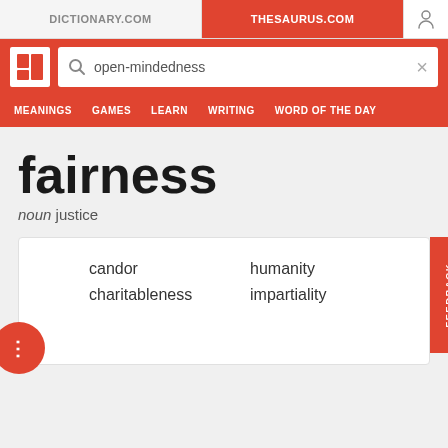DICTIONARY.COM | THESAURUS.COM
[Figure (screenshot): Thesaurus.com website header with search bar showing 'open-mindedness', navigation tabs: MEANINGS, GAMES, LEARN, WRITING, WORD OF THE DAY]
fairness
noun justice
candor
charitableness
humanity
impartiality